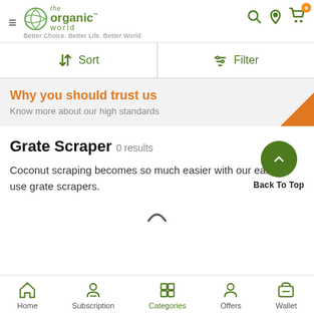[Figure (logo): The Organic World logo with tagline 'Better Choice. Better Life. Better World']
Sort
Filter
Why you should trust us
Know more about our high standards
Grate Scraper  0 results
Coconut scraping becomes so much easier with our easy to use grate scrapers.
Back To Top
Home  Subscription  Categories  Offers  Wallet